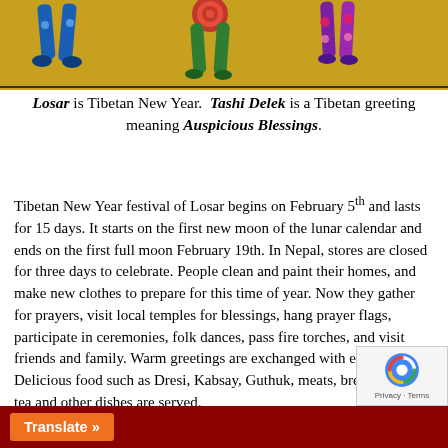[Figure (illustration): Decorative Tibetan art showing stylized animal figures (legs/lower bodies visible) in blue and green on a golden/yellow background]
Losar is Tibetan New Year. Tashi Delek is a Tibetan greeting meaning Auspicious Blessings.
Tibetan New Year festival of Losar begins on February 5th and lasts for 15 days. It starts on the first new moon of the lunar calendar and ends on the first full moon February 19th. In Nepal, stores are closed for three days to celebrate. People clean and paint their homes, and make new clothes to prepare for this time of year. Now they gather for prayers, visit local temples for blessings, hang prayer flags, participate in ceremonies, folk dances, pass fire torches, and visit friends and family. Warm greetings are exchanged with everyone. Delicious food such as Dresi, Kabsay, Guthuk, meats, bread, butter tea and other dishes are served.
Translate »